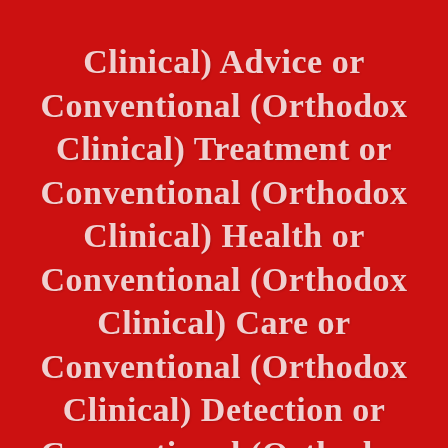Clinical) Advice or Conventional (Orthodox Clinical) Treatment or Conventional (Orthodox Clinical) Health or Conventional (Orthodox Clinical) Care or Conventional (Orthodox Clinical) Detection or Conventional (Orthodox Clinical) Diagnosis or Conventional (Orthodox Clinical) Prevention or Conventional (Orthodox Clinical) Promotion or Conventional (Orthodox Clinical)